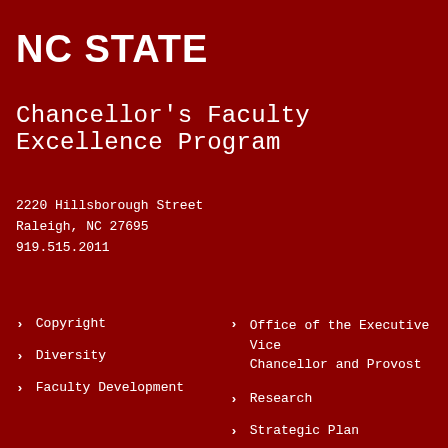NC STATE
Chancellor's Faculty Excellence Program
2220 Hillsborough Street
Raleigh, NC 27695
919.515.2011
Copyright
Diversity
Faculty Development
Office of the Executive Vice Chancellor and Provost
Research
Strategic Plan